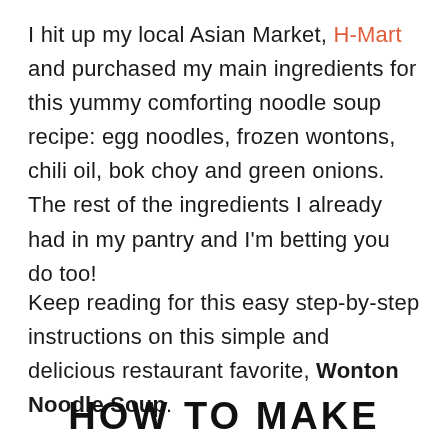I hit up my local Asian Market, H-Mart and purchased my main ingredients for this yummy comforting noodle soup recipe: egg noodles, frozen wontons, chili oil, bok choy and green onions. The rest of the ingredients I already had in my pantry and I'm betting you do too!
Keep reading for this easy step-by-step instructions on this simple and delicious restaurant favorite, Wonton Noodle Soup.
HOW TO MAKE